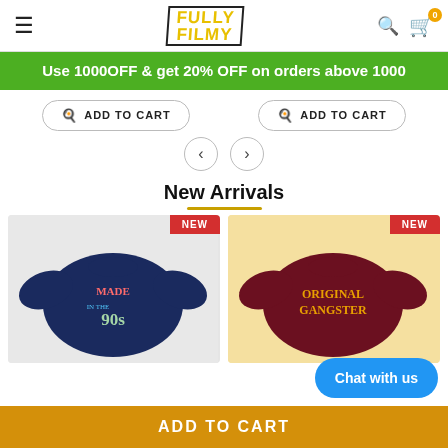Fully Filmy - navigation header with hamburger menu, logo, search and cart icons
Use 1000OFF & get 20% OFF on orders above 1000
ADD TO CART | ADD TO CART
[Figure (screenshot): Left and right navigation arrow buttons]
New Arrivals
[Figure (photo): T-shirt with Made in the 90s design on dark navy background - NEW badge]
[Figure (photo): T-shirt with Original Gangster text on maroon, yellow background - NEW badge]
Chat with us
ADD TO CART